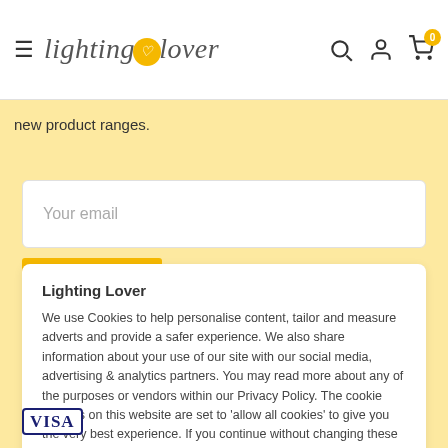lighting lover
new product ranges.
Your email
Lighting Lover
We use Cookies to help personalise content, tailor and measure adverts and provide a safer experience. We also share information about your use of our site with our social media, advertising & analytics partners. You may read more about any of the purposes or vendors within our Privacy Policy. The cookie settings on this website are set to 'allow all cookies' to give you the very best experience. If you continue without changing these settings, you consent to this. Details of how to change your cookie settings can be found in our Privacy Policy
Accept